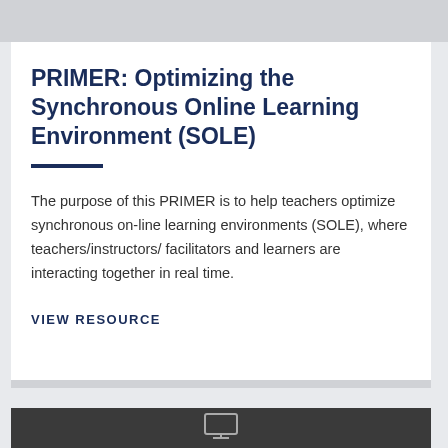PRIMER: Optimizing the Synchronous Online Learning Environment (SOLE)
The purpose of this PRIMER is to help teachers optimize synchronous on-line learning environments (SOLE), where teachers/instructors/ facilitators and learners are interacting together in real time.
VIEW RESOURCE
[Figure (photo): Dark gray bottom image strip with a monitor icon]